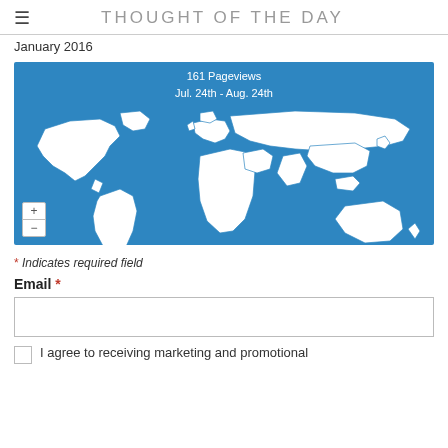THOUGHT OF THE DAY
January 2016
[Figure (map): World map showing 161 Pageviews from Jul. 24th - Aug. 24th with blue background and white country outlines, plus/minus zoom controls in bottom left]
* Indicates required field
Email *
I agree to receiving marketing and promotional